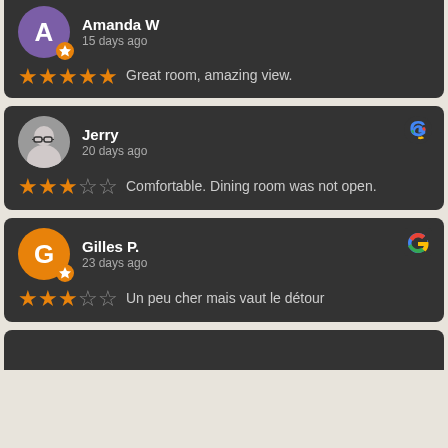Amanda W — 15 days ago — 5 stars — Great room, amazing view.
Jerry — 20 days ago — 3 stars — Comfortable. Dining room was not open.
Gilles P. — 23 days ago — 3 stars — Un peu cher mais vaut le détour
Fourth reviewer card (partially visible at bottom)